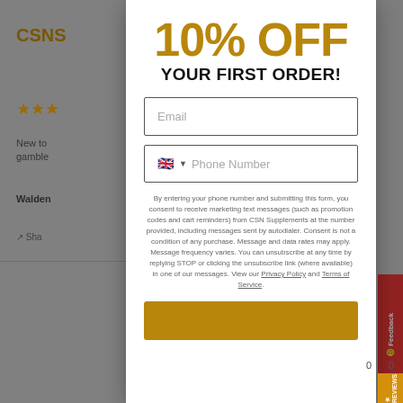[Figure (screenshot): Website popup modal offering 10% off first order with email and phone number input fields, legal consent text, and a submit button. Background shows a product review page with star ratings and partial review text.]
10% OFF
YOUR FIRST ORDER!
Email
Phone Number
By entering your phone number and submitting this form, you consent to receive marketing text messages (such as promotion codes and cart reminders) from CSN Supplements at the number provided, including messages sent by autodialer. Consent is not a condition of any purchase. Message and data rates may apply. Message frequency varies. You can unsubscribe at any time by replying STOP or clicking the unsubscribe link (where available) in one of our messages. View our Privacy Policy and Terms of Service.